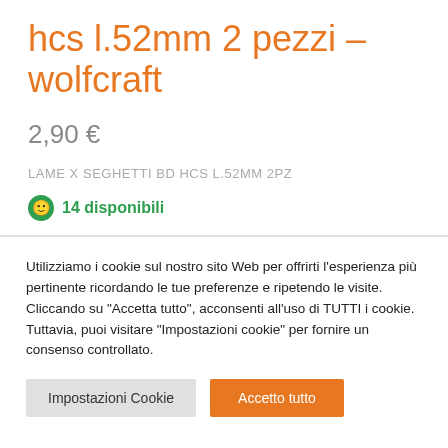hcs l.52mm 2 pezzi – wolfcraft
2,90 €
LAME X SEGHETTI BD HCS L.52MM 2PZ
14 disponibili
Utilizziamo i cookie sul nostro sito Web per offrirti l'esperienza più pertinente ricordando le tue preferenze e ripetendo le visite. Cliccando su "Accetta tutto", acconsenti all'uso di TUTTI i cookie. Tuttavia, puoi visitare "Impostazioni cookie" per fornire un consenso controllato.
Impostazioni Cookie
Accetto tutto